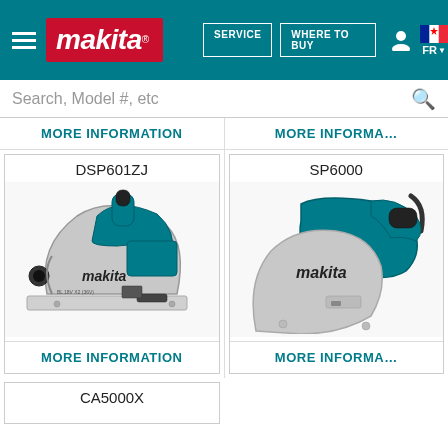[Figure (screenshot): Makita Canada website header with logo, navigation buttons (SERVICE, WHERE TO BUY), user icon, and Canadian flag with FR language selector]
Search, Model #, etc
MORE INFORMATION
MORE INFORMA...
DSP601ZJ
[Figure (photo): Makita DSP601ZJ plunge cut track saw in teal and silver/grey]
MORE INFORMATION
SP6000
[Figure (photo): Makita SP6000 plunge cut circular saw in teal and silver/grey, partially visible]
MORE INFORMA...
CA5000X